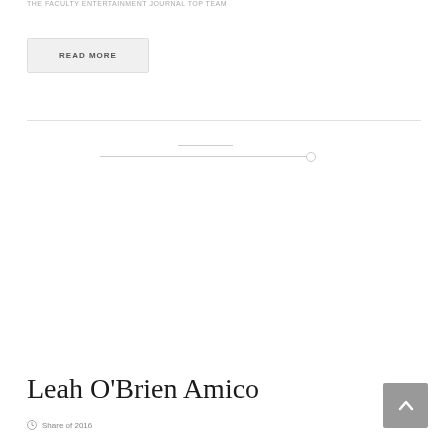THE FACULTY ENTERTAINMENT JOURNAL TOP TEAM
READ MORE
Leah O'Brien Amico
Share of 2016